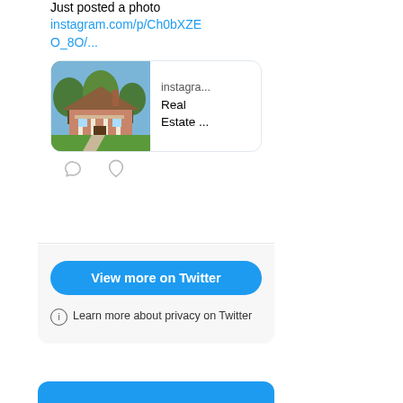Just posted a photo
instagram.com/p/Ch0bXZEO_8O/...
[Figure (screenshot): Instagram link preview card showing a house photo with text 'instagra...' and 'Real Estate ...']
[Figure (illustration): Comment and like icons (heart and speech bubble)]
View more on Twitter
Learn more about privacy on Twitter